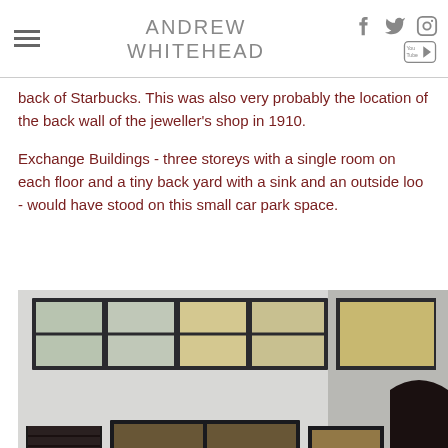ANDREW WHITEHEAD
back of Starbucks. This was also very probably the location of the back wall of the jeweller's shop in 1910.
Exchange Buildings - three storeys with a single room on each floor and a tiny back yard with a sink and an outside loo - would have stood on this small car park space.
[Figure (photo): Exterior of a modern building with large windows, white/marble facade, and dark-framed glazing on multiple floors. Shows ground floor entrance with glass doors and upper floor with horizontal band of windows.]